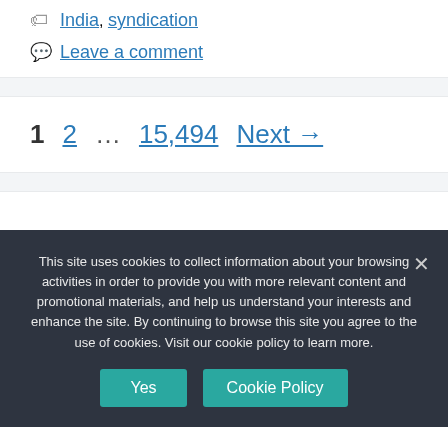India, syndication
Leave a comment
1  2  …  15,494  Next →
This site uses cookies to collect information about your browsing activities in order to provide you with more relevant content and promotional materials, and help us understand your interests and enhance the site. By continuing to browse this site you agree to the use of cookies. Visit our cookie policy to learn more.
Yes   Cookie Policy